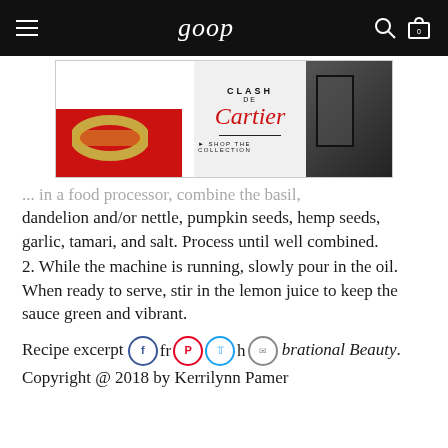goop
[Figure (photo): Clash de Cartier advertisement banner showing a gold ring on a red box on the left, Cartier script logo in red with 'CLASH DE' above and 'SHOP THE COLLECTION' below in the center, and a woman in black holding a mirror on the right.]
... in a food processor, combine the basil, dandelion and/or nettle, pumpkin seeds, hemp seeds, garlic, tamari, and salt. Process until well combined.
2. While the machine is running, slowly pour in the oil. When ready to serve, stir in the lemon juice to keep the sauce green and vibrant.
Recipe excerpt from Vibrational Beauty. Copyright @ 2018 by Kerrilynn Pamer